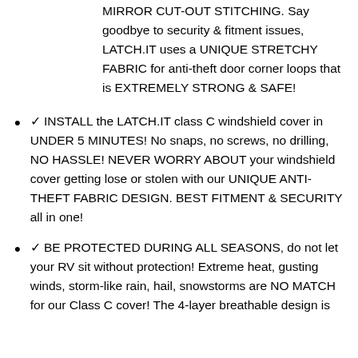MIRROR CUT-OUT STITCHING. Say goodbye to security & fitment issues, LATCH.IT uses a UNIQUE STRETCHY FABRIC for anti-theft door corner loops that is EXTREMELY STRONG & SAFE!
✓ INSTALL the LATCH.IT class C windshield cover in UNDER 5 MINUTES! No snaps, no screws, no drilling, NO HASSLE! NEVER WORRY ABOUT your windshield cover getting lose or stolen with our UNIQUE ANTI-THEFT FABRIC DESIGN. BEST FITMENT & SECURITY all in one!
✓ BE PROTECTED DURING ALL SEASONS, do not let your RV sit without protection! Extreme heat, gusting winds, storm-like rain, hail, snowstorms are NO MATCH for our Class C cover! The 4-layer breathable design is